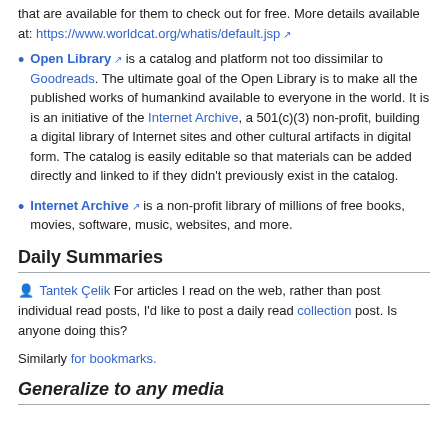that are available for them to check out for free. More details available at: https://www.worldcat.org/whatis/default.jsp
Open Library is a catalog and platform not too dissimilar to Goodreads. The ultimate goal of the Open Library is to make all the published works of humankind available to everyone in the world. It is is an initiative of the Internet Archive, a 501(c)(3) non-profit, building a digital library of Internet sites and other cultural artifacts in digital form. The catalog is easily editable so that materials can be added directly and linked to if they didn't previously exist in the catalog.
Internet Archive is a non-profit library of millions of free books, movies, software, music, websites, and more.
Daily Summaries
Tantek Çelik For articles I read on the web, rather than post individual read posts, I'd like to post a daily read collection post. Is anyone doing this?
Similarly for bookmarks.
Generalize to any media